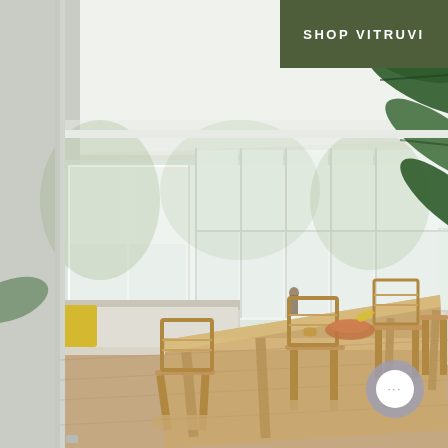[Figure (photo): Interior photo of a bright sunlit dining room with large white-framed windows, a long wooden dining table with woven-seat wooden chairs, a built-in bench with cushions and a yellow pillow, fruit bowl and items on the table, and tropical plant leaves in the foreground on the right. Natural light floods the space.]
SHOP VITRUVI